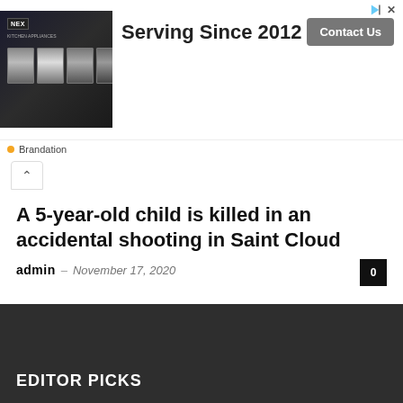[Figure (screenshot): Advertisement banner: image of appliance boxes on dark background, text 'Serving Since 2012', Contact Us button, Brandation label]
A 5-year-old child is killed in an accidental shooting in Saint Cloud
admin – November 17, 2020  0
- Advertisement -
EDITOR PICKS